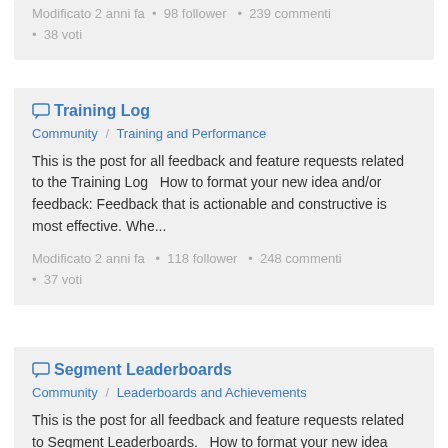Modificato 2 anni fa  •  98 follower   •  239 commenti  •  38 voti
Training Log
Community  /  Training and Performance
This is the post for all feedback and feature requests related to the Training Log   How to format your new idea and/or feedback: Feedback that is actionable and constructive is most effective. Whe...
Modificato 2 anni fa  •  118 follower   •  248 commenti  •  37 voti
Segment Leaderboards
Community  /  Leaderboards and Achievements
This is the post for all feedback and feature requests related to Segment Leaderboards.   How to format your new idea and/or feedback: Feedback that is actionable and constructive is most effective...
Modificato 2 anni fa  •  1 follower